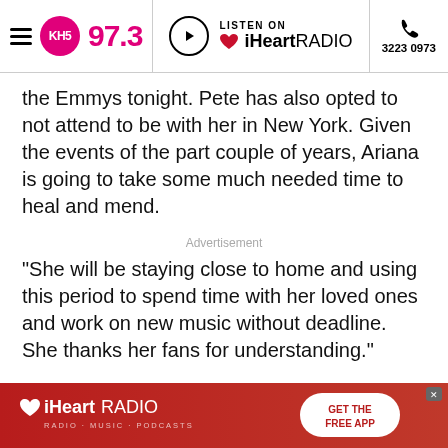KH5 97.3 | LISTEN ON iHeartRADIO | 3223 0973
the Emmys tonight. Pete has also opted to not attend to be with her in New York. Given the events of the part couple of years, Ariana is going to take some much needed time to heal and mend.
Advertisement
“She will be staying close to home and using this period to spend time with her loved ones and work on new music without deadline. She thanks her fans for understanding.”
This comes after the 25-year-old singer took to her Instagram account to pay tribute to Mac Miller.
[Figure (screenshot): iHeartRADIO advertisement banner with GET THE FREE APP button]